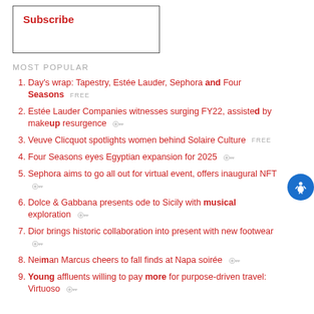Subscribe
MOST POPULAR
Day's wrap: Tapestry, Estée Lauder, Sephora and Four Seasons FREE
Estée Lauder Companies witnesses surging FY22, assisted by makeup resurgence
Veuve Clicquot spotlights women behind Solaire Culture FREE
Four Seasons eyes Egyptian expansion for 2025
Sephora aims to go all out for virtual event, offers inaugural NFT
Dolce & Gabbana presents ode to Sicily with musical exploration
Dior brings historic collaboration into present with new footwear
Neiman Marcus cheers to fall finds at Napa soirée
Young affluents willing to pay more for purpose-driven travel: Virtuoso